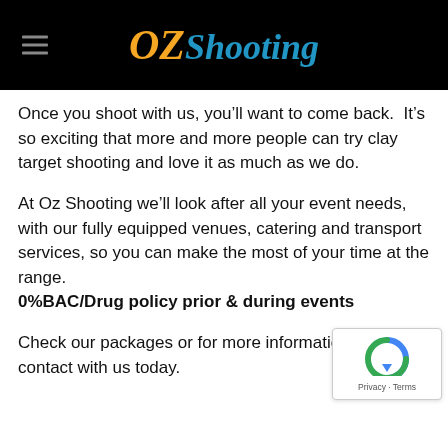OZ Shooting
Once you shoot with us, you’ll want to come back. It’s so exciting that more and more people can try clay target shooting and love it as much as we do.
At Oz Shooting we’ll look after all your event needs, with our fully equipped venues, catering and transport services, so you can make the most of your time at the range.
0%BAC/Drug policy prior & during events
Check our packages or for more information get in contact with us today.